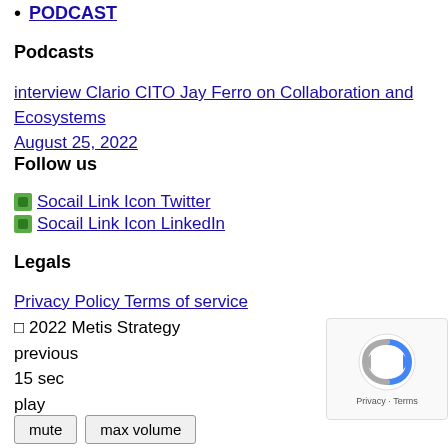PODCAST
Podcasts
interview Clario CITO Jay Ferro on Collaboration and Ecosystems August 25, 2022
Follow us
Socail Link Icon Twitter
Socail Link Icon LinkedIn
Legals
Privacy Policy Terms of service
© 2022 Metis Strategy
previous
15 sec
play
15 sec
/
mute   max volume